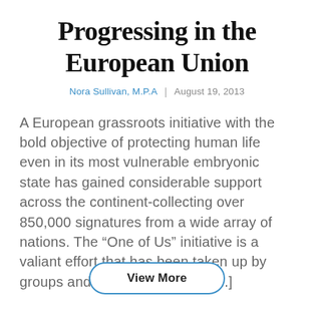Progressing in the European Union
Nora Sullivan, M.P.A  |  August 19, 2013
A European grassroots initiative with the bold objective of protecting human life even in its most vulnerable embryonic state has gained considerable support across the continent-collecting over 850,000 signatures from a wide array of nations. The “One of Us” initiative is a valiant effort that has been taken up by groups and individuals across [...]
View More